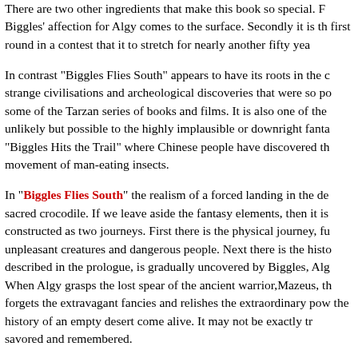There are two other ingredients that make this book so special. First, Biggles' affection for Algy comes to the surface. Secondly it is the first round in a contest that it to stretch for nearly another fifty years.
In contrast "Biggles Flies South" appears to have its roots in the craze for strange civilisations and archeological discoveries that were so popular in some of the Tarzan series of books and films. It is also one of the transition from unlikely but possible to the highly implausible or downright fantasy, as seen in "Biggles Hits the Trail" where Chinese people have discovered the ability to control movement of man-eating insects.
In "Biggles Flies South" the realism of a forced landing in the desert and a sacred crocodile. If we leave aside the fantasy elements, then it is beautifully constructed as two journeys. First there is the physical journey, full of unpleasant creatures and dangerous people. Next there is the historical journey described in the prologue, is gradually uncovered by Biggles, Algy and Ginger. When Algy grasps the lost spear of the ancient warrior,Mazeus, the reader forgets the extravagant fancies and relishes the extraordinary power of making the history of an empty desert come alive. It may not be exactly true but it is to be savored and remembered.
Biggles is directly and indirectly involved in other archeological themes. In "Biggles Forms a Syndicate" and "Biggles and the Plan that Failed" a much harder line is taken and the author copes well with anti-climax and stunning success, full of incident and references that has you reaching for the history text-books. "Biggles Flies South".